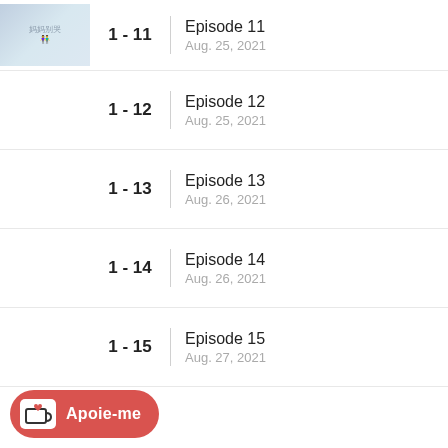1 - 11 | Episode 11 | Aug. 25, 2021
1 - 12 | Episode 12 | Aug. 25, 2021
1 - 13 | Episode 13 | Aug. 26, 2021
1 - 14 | Episode 14 | Aug. 26, 2021
1 - 15 | Episode 15 | Aug. 27, 2021
[Figure (other): Apoie-me (Support me) button with coffee cup heart icon in red/coral color]